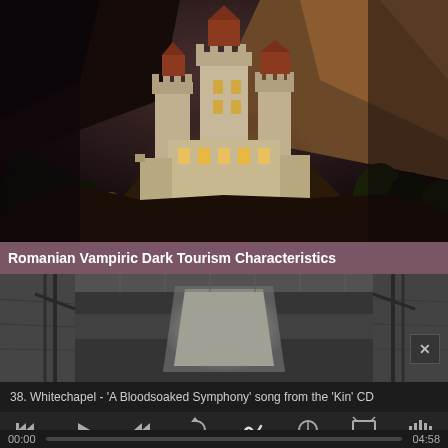[Figure (photo): A dramatic nighttime or dusk photograph of Bran Castle (Dracula's Castle) in Romania, perched on a rocky hilltop surrounded by dark forests and mountains. The castle is illuminated with warm golden light against a dark sky.]
Romanian Vampiric Dark Tourism Characteristics
[Figure (photo): A dark, moody interior industrial or institutional photograph showing a large concrete hallway or corridor with high ceilings, metal piping, and a bright opening at the far end.]
38. Whitechapel - 'A Bloodsoaked Symphony' song from the 'Kin' CD